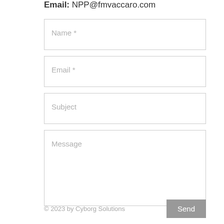Email: NPP@fmvaccaro.com
Name *
Email *
Subject
Message
© 2023 by Cyborg Solutions
Send